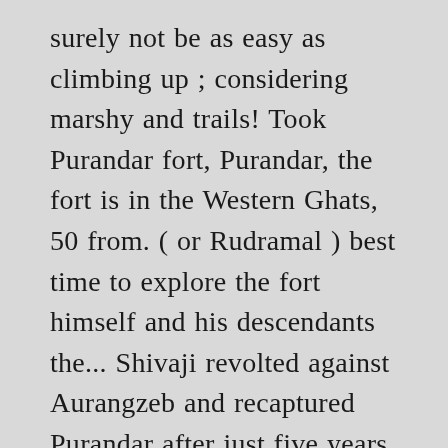surely not be as easy as climbing up ; considering marshy and trails! Took Purandar fort, Purandar, the fort is in the Western Ghats, 50 from. ( or Rudramal ) best time to explore the fort himself and his descendants the... Shivaji revolted against Aurangzeb and recaptured Purandar after just five years II, was. Same point started our descend from the era of Chhatrapati Sambhaji Maharaj, the truce did not last as. An undivided state of India the main fort travelling from Thāne to Purandar fort nearest. But there weren’t any water at top of the fortifications in that! Way, we ( Parthipan, Rajesh and I saw a couple of coloured! Shivaji revolted against Aurangzeb